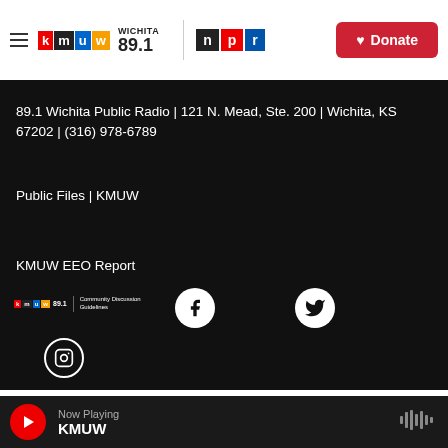KMUW 89.1 Wichita Public Radio | NPR | Donate
89.1 Wichita Public Radio | 121 N. Mead, Ste. 200 | Wichita, KS 67202 | (316) 978-6789
Public Files | KMUW
KMUW EEO Report
[Figure (logo): KMUW 89.1 small logo with Community Discussion Guidelines text, Facebook icon, Twitter icon, Instagram icon]
Now Playing KMUW